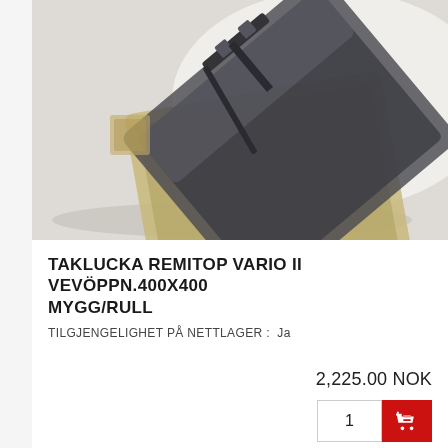[Figure (photo): Product photo of a roof hatch (taklucka) Remitop Vario II, shown open at an angle, with a dark smoked transparent lid and a beige/gold frame, photographed on a white background.]
TAKLUCKA REMITOP VARIO II VEVÖPPN.400X400 MYGG/RULL
TILGJENGELIGHET PÅ NETTLAGER :  Ja
2,225.00 NOK